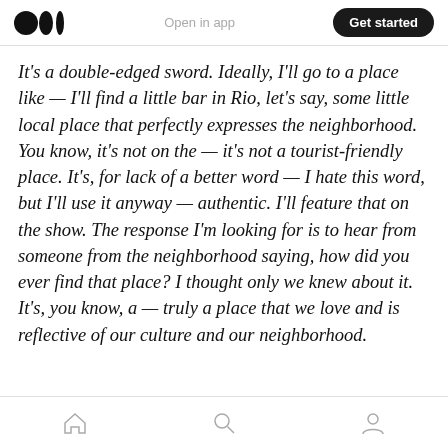Medium logo | Open in app | Get started
It's a double-edged sword. Ideally, I'll go to a place like — I'll find a little bar in Rio, let's say, some little local place that perfectly expresses the neighborhood. You know, it's not on the — it's not a tourist-friendly place. It's, for lack of a better word — I hate this word, but I'll use it anyway — authentic. I'll feature that on the show. The response I'm looking for is to hear from someone from the neighborhood saying, how did you ever find that place? I thought only we knew about it. It's, you know, a — truly a place that we love and is reflective of our culture and our neighborhood.
Home | Search | Profile